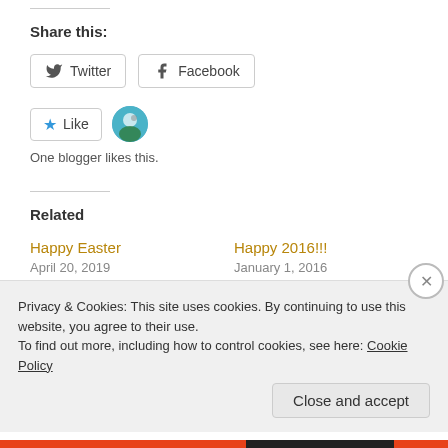Share this:
[Figure (other): Twitter and Facebook share buttons]
[Figure (other): Like button with star icon and blogger avatar circle]
One blogger likes this.
Related
Happy Easter
April 20, 2019
With 6 comments
Happy 2016!!!
January 1, 2016
With 2 comments
Merry Christmas to All
Privacy & Cookies: This site uses cookies. By continuing to use this website, you agree to their use.
To find out more, including how to control cookies, see here: Cookie Policy
Close and accept